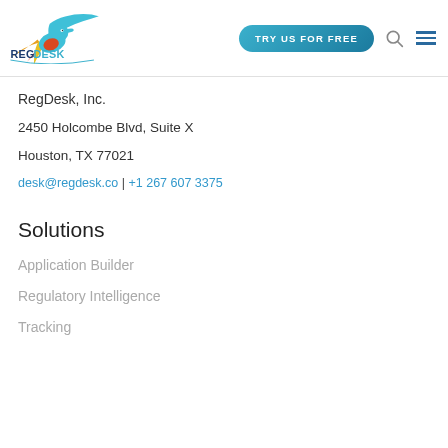[Figure (logo): RegDesk logo with stylized bird/hummingbird in orange, red, yellow and blue colors, with text REGDESK in dark blue and teal]
TRY US FOR FREE
RegDesk, Inc.
2450 Holcombe Blvd, Suite X
Houston, TX 77021
desk@regdesk.co | +1 267 607 3375
Solutions
Application Builder
Regulatory Intelligence
Tracking